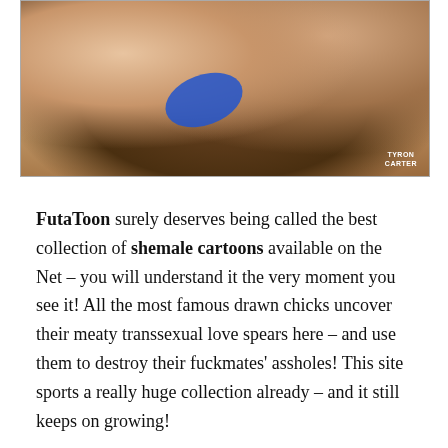[Figure (illustration): Cartoon illustration of stylized animated figures with brown and peach skin tones, with a blue garment visible in the center. Watermark reads TYRON CARTER in bottom right corner.]
FutaToon surely deserves being called the best collection of shemale cartoons available on the Net – you will understand it the very moment you see it! All the most famous drawn chicks uncover their meaty transsexual love spears here – and use them to destroy their fuckmates' assholes! This site sports a really huge collection already – and it still keeps on growing!